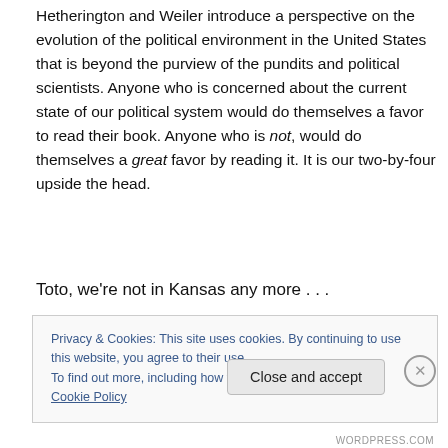Hetherington and Weiler introduce a perspective on the evolution of the political environment in the United States that is beyond the purview of the pundits and political scientists. Anyone who is concerned about the current state of our political system would do themselves a favor to read their book. Anyone who is not, would do themselves a great favor by reading it. It is our two-by-four upside the head.
Toto, we're not in Kansas any more . . .
Privacy & Cookies: This site uses cookies. By continuing to use this website, you agree to their use. To find out more, including how to control cookies, see here: Cookie Policy
WORDPRESS.COM